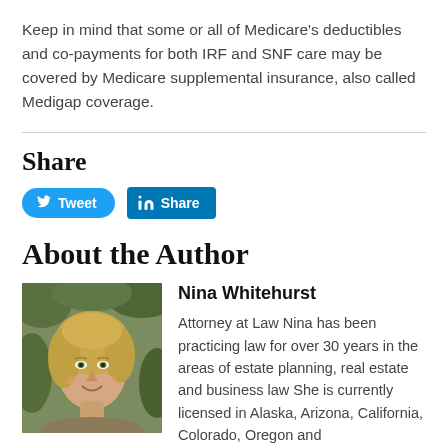Keep in mind that some or all of Medicare's deductibles and co-payments for both IRF and SNF care may be covered by Medicare supplemental insurance, also called Medigap coverage.
Share
[Figure (other): Tweet and LinkedIn Share buttons]
About the Author
[Figure (photo): Headshot photo of Nina Whitehurst, a woman with blonde hair smiling]
Nina Whitehurst
Attorney at Law Nina has been practicing law for over 30 years in the areas of estate planning, real estate and business law She is currently licensed in Alaska, Arizona, California, Colorado, Oregon and